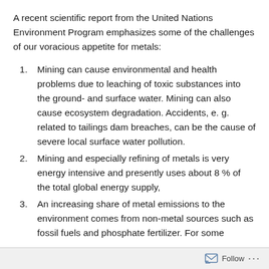A recent scientific report from the United Nations Environment Program emphasizes some of the challenges of our voracious appetite for metals:
Mining can cause environmental and health problems due to leaching of toxic substances into the ground- and surface water. Mining can also cause ecosystem degradation. Accidents, e. g. related to tailings dam breaches, can be the cause of severe local surface water pollution.
Mining and especially refining of metals is very energy intensive and presently uses about 8 % of the total global energy supply,
An increasing share of metal emissions to the environment comes from non-metal sources such as fossil fuels and phosphate fertilizer. For some
Follow ···